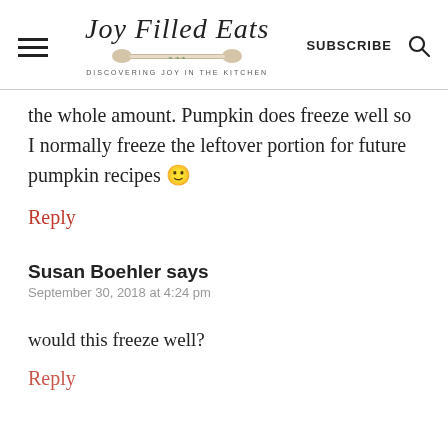Joy Filled Eats — DISCOVERING JOY IN THE KITCHEN — SUBSCRIBE
the whole amount. Pumpkin does freeze well so I normally freeze the leftover portion for future pumpkin recipes 🙂
Reply
Susan Boehler says
September 30, 2018 at 4:24 pm
would this freeze well?
Reply